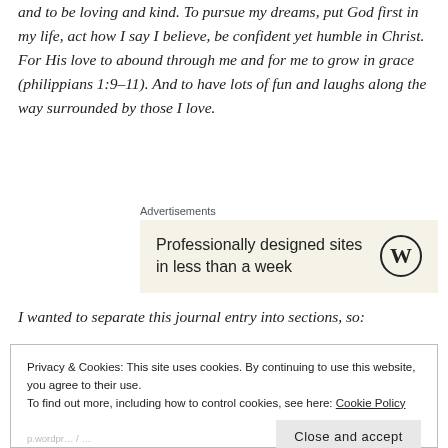and to be loving and kind. To pursue my dreams, put God first in my life, act how I say I believe, be confident yet humble in Christ. For His love to abound through me and for me to grow in grace (philippians 1:9–11). And to have lots of fun and laughs along the way surrounded by those I love.
[Figure (other): WordPress advertisement box with text 'Professionally designed sites in less than a week' and WordPress logo on a beige background, preceded by 'Advertisements' label]
I wanted to separate this journal entry into sections, so:
Privacy & Cookies: This site uses cookies. By continuing to use this website, you agree to their use. To find out more, including how to control cookies, see here: Cookie Policy
Close and accept